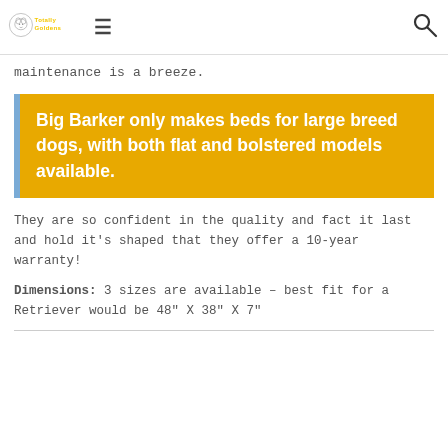Totally Goldens
maintenance is a breeze.
Big Barker only makes beds for large breed dogs, with both flat and bolstered models available.
They are so confident in the quality and fact it last and hold it's shaped that they offer a 10-year warranty!
Dimensions: 3 sizes are available – best fit for a Retriever would be 48" X 38" X 7"